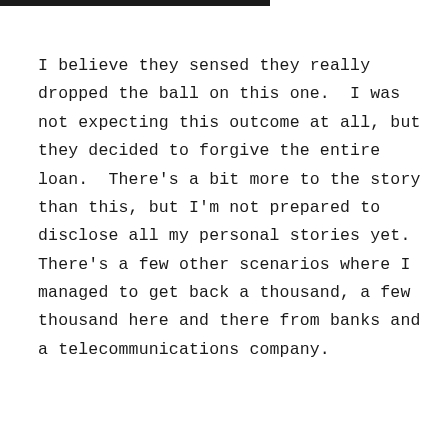I believe they sensed they really dropped the ball on this one. I was not expecting this outcome at all, but they decided to forgive the entire loan. There's a bit more to the story than this, but I'm not prepared to disclose all my personal stories yet. There's a few other scenarios where I managed to get back a thousand, a few thousand here and there from banks and a telecommunications company.